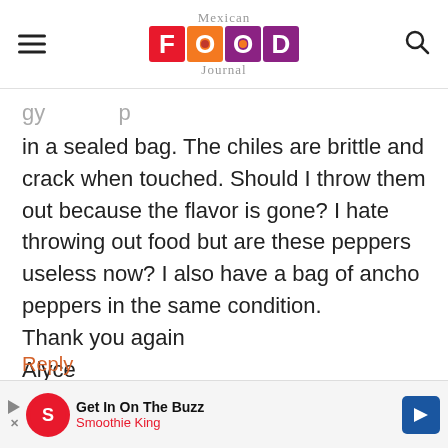Mexican Food Journal
in a sealed bag. The chiles are brittle and crack when touched. Should I throw them out because the flavor is gone? I hate throwing out food but are these peppers useless now? I also have a bag of ancho peppers in the same condition.
Thank you again
Alyce
Reply
[Figure (infographic): Advertisement banner: Get In On The Buzz - Smoothie King with logo and arrow icon]